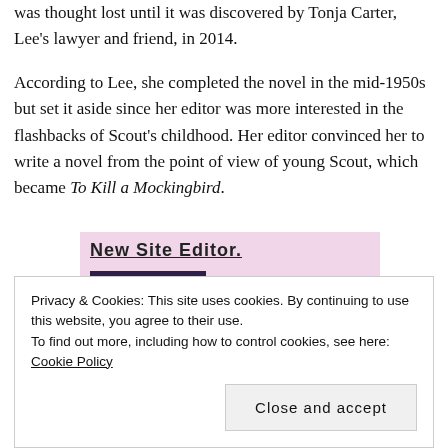was thought lost until it was discovered by Tonja Carter, Lee's lawyer and friend, in 2014.
According to Lee, she completed the novel in the mid-1950s but set it aside since her editor was more interested in the flashbacks of Scout's childhood. Her editor convinced her to write a novel from the point of view of young Scout, which became To Kill a Mockingbird.
[Figure (screenshot): Advertisement banner with pink background showing 'New Site Editor.' text and a dark purple 'Start Today' button]
Privacy & Cookies: This site uses cookies. By continuing to use this website, you agree to their use.
To find out more, including how to control cookies, see here: Cookie Policy
Close and accept